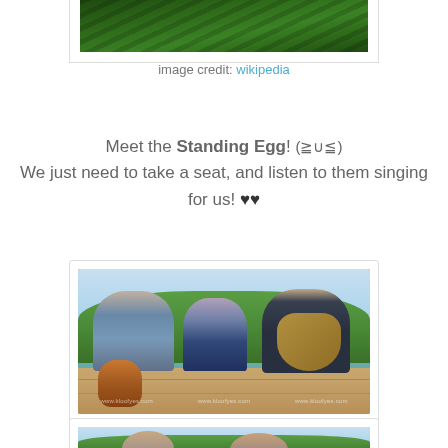[Figure (photo): Aerial/overhead view of green tea terraces or similar green field crop rows (partial, cropped at top)]
image credit: wikipedia
Meet the Standing Egg! (≧∪≦)
We just need to take a seat, and listen to them singing for us! ♥♥
[Figure (photo): Three musicians (Standing Egg) sitting outdoors on a wooden deck with green mountain/hillside backdrop: left person with djembe drum, center person seated, right person playing acoustic guitar. Watermarks visible.]
[Figure (photo): Second photo of the same outdoor music session, partially visible at bottom of page, showing similar mountain backdrop.]